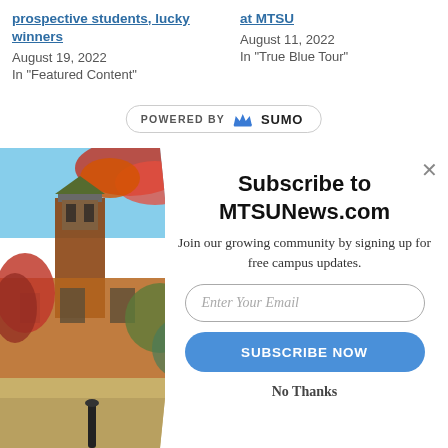prospective students, lucky winners
August 19, 2022
In "Featured Content"
at MTSU
August 11, 2022
In "True Blue Tour"
[Figure (screenshot): POWERED BY SUMO badge/banner]
[Figure (photo): Campus photo showing a bell tower with brick building and red autumn foliage trees against a blue sky]
Subscribe to MTSUNews.com
Join our growing community by signing up for free campus updates.
Enter Your Email
SUBSCRIBE NOW
No Thanks